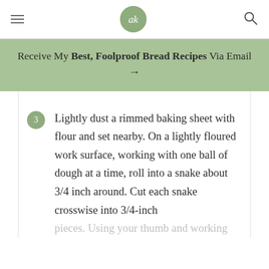ak logo, hamburger menu, search icon
Receive My Best, Foolproof Bread Recipes Via Email →
3. Lightly dust a rimmed baking sheet with flour and set nearby. On a lightly floured work surface, working with one ball of dough at a time, roll into a snake about 3/4 inch around. Cut each snake crosswise into 3/4-inch pieces. Using your thumb and working